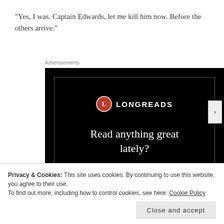“Yes, I was. Captain Edwards, let me kill him now. Before the others arrive.”
Advertisements
[Figure (other): Longreads advertisement banner with black background, Longreads logo (red circle with L), headline 'Read anything great lately?', and a red 'Start reading' button.]
Privacy & Cookies: This site uses cookies. By continuing to use this website, you agree to their use.
To find out more, including how to control cookies, see here: Cookie Policy
Close and accept